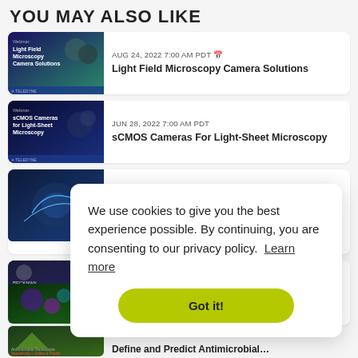YOU MAY ALSO LIKE
AUG 24, 2022 7:00 AM PDT — Light Field Microscopy Camera Solutions
JUN 28, 2022 7:00 AM PDT — sCMOS Cameras For Light-Sheet Microscopy
AUG 10, 2022 10:00 AM PDT — Avoiding hurdles in molecular assay development
OCT 05, 2022 9:00 AM PDT — [partial]
Define and Predict Antimicrobial...
We use cookies to give you the best experience possible. By continuing, you are consenting to our privacy policy.  Learn more
Got it!